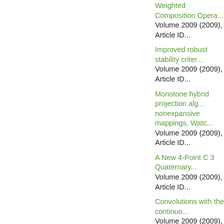Weighted Composition Operat...
Volume 2009 (2009), Article ID...
Improved robust stability criter...
Volume 2009 (2009), Article ID...
Monotone hybrid projection alg...
nonexpansive mappings, Watc...
Volume 2009 (2009), Article ID...
A New 4-Point C 3 Quaternary...
Volume 2009 (2009), Article ID...
Convolutions with the continuo...
Volume 2009 (2009), Article ID...
The existence of positive solu...
Tian, Anping Chen
Volume 2009 (2009), Article ID...
Solvability of a higher-order th...
Volume 2009 (2009), Article ID...
Smooth approximations of glo...
Volume 2009 (2009), Article ID...
Stability of the Jensen-Type F...